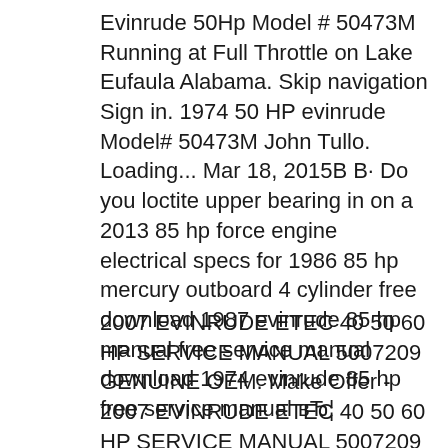Evinrude 50Hp Model # 50473M Running at Full Throttle on Lake Eufaula Alabama. Skip navigation Sign in. 1974 50 HP evinrude Model# 50473M John Tullo. Loading... Mar 18, 2015В В· Do you loctite upper bearing in on a 2013 85 hp force engine electrical specs for 1986 85 hp mercury outboard 4 cylinder free download 1987 evinrude 85 hp manual free service manual download 1974 evinrude 85 hp free service manual вЂ¦
2007 EVINRUDE ETEC 40 50 60 HP SERVICE MANUAL 5007209 GENUINE OEM. Make Offer - 2007 EVINRUDE ETEC 40 50 60 HP SERVICE MANUAL 5007209 GENUINE OEM. 1974 Evinrude Service...